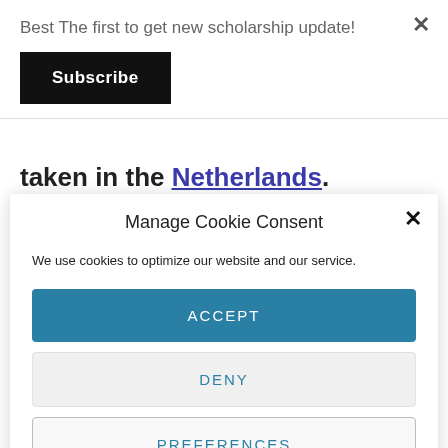Best The first to get new scholarship update!
Subscribe
taken in the Netherlands.
Manage Cookie Consent
We use cookies to optimize our website and our service.
ACCEPT
DENY
PREFERENCES
Privacy Policy